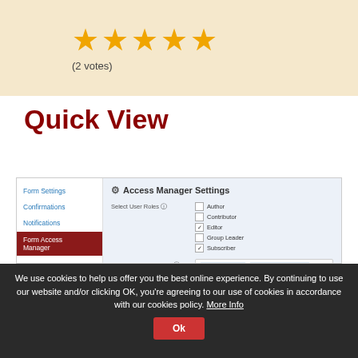[Figure (screenshot): Five gold star rating icons displayed on a light orange/cream background]
(2 votes)
Quick View
[Figure (screenshot): Access Manager Settings panel showing Form Settings sidebar with Form Access Manager selected, and main panel with Select User Roles checkboxes (Author, Contributor, Editor checked, Group Leader, Subscriber checked), Select Individual Users showing Sharon Koshy and Vishavjeet Choubey tags, and Restrict Individual Users showing Jeet Vasa and Nirav Mehta tags]
We use cookies to help us offer you the best online experience. By continuing to use our website and/or clicking OK, you're agreeing to our use of cookies in accordance with our cookies policy. More Info